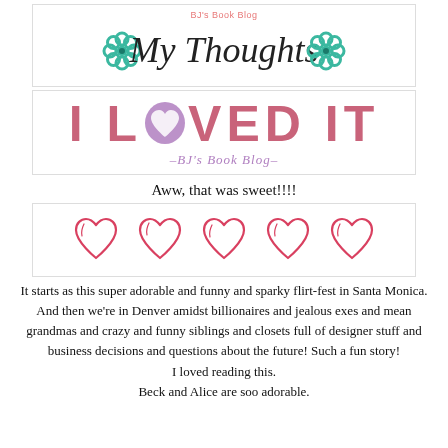[Figure (logo): BJ's Book Blog 'My Thoughts' banner with teal flowers and script text]
[Figure (logo): I LOVED IT badge with purple heart replacing O, BJ's Book Blog subtitle in purple script]
Aww, that was sweet!!!!
[Figure (illustration): Five red/pink outlined heart illustrations in a row (5-star rating)]
It starts as this super adorable and funny and sparky flirt-fest in Santa Monica.
And then we're in Denver amidst billionaires and jealous exes and mean grandmas and crazy and funny siblings and closets full of designer stuff and business decisions and questions about the future! Such a fun story!
I loved reading this.
Beck and Alice are soo adorable.